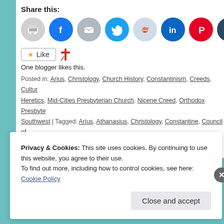Share this:
[Figure (other): Row of social sharing icon buttons: print, Facebook, email, Twitter, Reddit, LinkedIn, Pinterest, Tumblr]
Like  [cross icon]
One blogger likes this.
Posted in: Arius, Christology, Church History, Constantinism, Creeds, Culture, Heretics, Mid-Cities Presbyterian Church, Nicene Creed, Orthodox Presbyte... Southwest | Tagged: Arius, Athanasius, Christology, Constantine, Council of Orthodoxy
Privacy & Cookies: This site uses cookies. By continuing to use this website, you agree to their use.
To find out more, including how to control cookies, see here: Cookie Policy
Close and accept